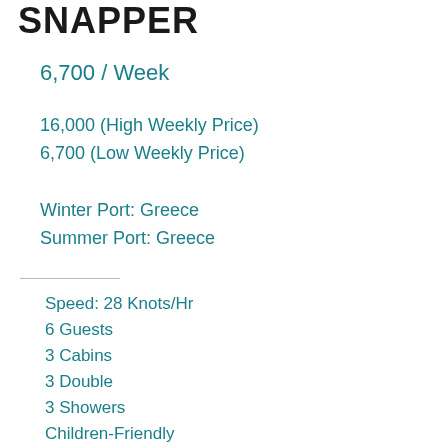SNAPPER
6,700 / Week
16,000 (High Weekly Price)
6,700 (Low Weekly Price)
Winter Port: Greece
Summer Port: Greece
Speed: 28 Knots/Hr
6 Guests
3 Cabins
3 Double
3 Showers
Children-Friendly